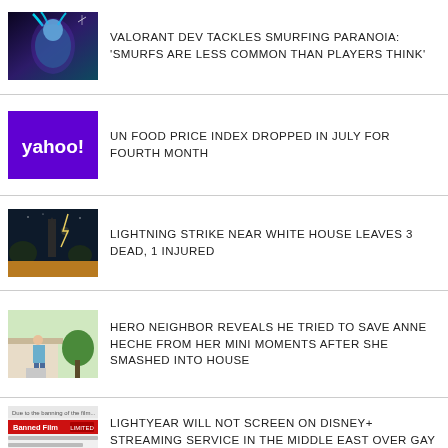[Figure (photo): Gaming character with teal hair and purple background (Valorant)]
VALORANT DEV TACKLES SMURFING PARANOIA: 'SMURFS ARE LESS COMMON THAN PLAYERS THINK'
[Figure (logo): Yahoo! logo on purple background]
UN FOOD PRICE INDEX DROPPED IN JULY FOR FOURTH MONTH
[Figure (photo): Night photo of Washington Monument area near White House]
LIGHTNING STRIKE NEAR WHITE HOUSE LEAVES 3 DEAD, 1 INJURED
[Figure (photo): Man standing outside a house in casual clothes]
HERO NEIGHBOR REVEALS HE TRIED TO SAVE ANNE HECHE FROM HER MINI MOMENTS AFTER SHE SMASHED INTO HOUSE
[Figure (screenshot): Article page with Banned Film red header and text]
LIGHTYEAR WILL NOT SCREEN ON DISNEY+ STREAMING SERVICE IN THE MIDDLE EAST OVER GAY KISS SCENE